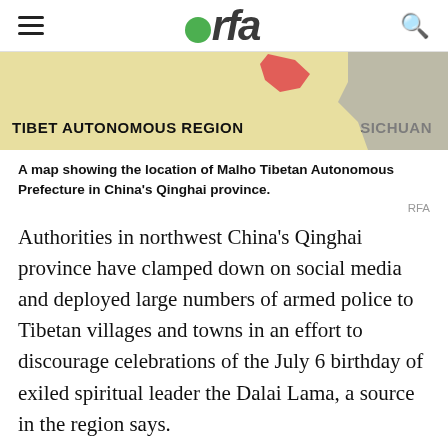rfa
[Figure (map): A map showing Tibet Autonomous Region and Sichuan province, with a red highlighted area indicating the location of Malho Tibetan Autonomous Prefecture in China's Qinghai province.]
A map showing the location of Malho Tibetan Autonomous Prefecture in China's Qinghai province.
RFA
Authorities in northwest China's Qinghai province have clamped down on social media and deployed large numbers of armed police to Tibetan villages and towns in an effort to discourage celebrations of the July 6 birthday of exiled spiritual leader the Dalai Lama, a source in the region says.